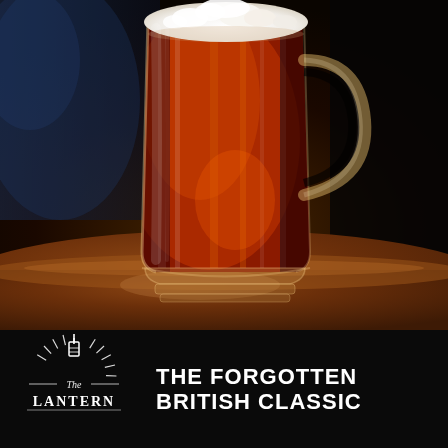[Figure (photo): A glass beer mug filled with amber/red British ale with a white foamy head, sitting on a wooden pub table. Background shows bokeh pub interior.]
[Figure (logo): The Lantern pub logo: a circular emblem with radiating lines, a hanging lantern at top, decorative banner reading 'The' in script, and 'LANTERN' in bold serif letters at bottom, all in white on black background.]
THE FORGOTTEN BRITISH CLASSIC